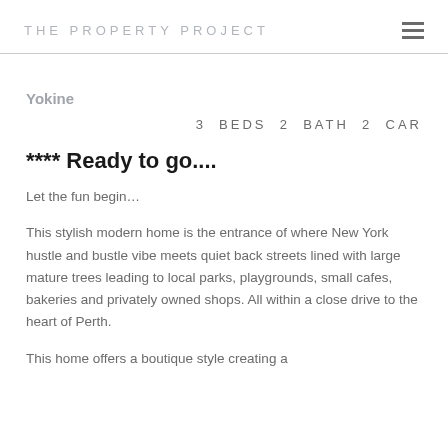THE PROPERTY PROJECT
Yokine
3  BEDS  2  BATH  2  CAR
**** Ready to go....
Let the fun begin…
This stylish modern home is the entrance of where New York hustle and bustle vibe meets quiet back streets lined with large mature trees leading to local parks, playgrounds, small cafes, bakeries and privately owned shops. All within a close drive to the heart of Perth.
This home offers a boutique style creating a